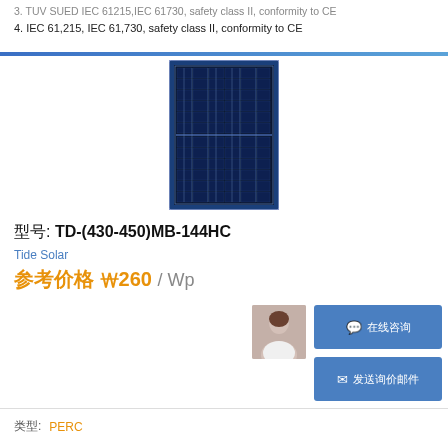3. TUV SUED IEC 61215, IEC 61730, safety class II, conformity to CE
4. IEC 61,215, IEC 61,730, safety class II, conformity to CE
[Figure (photo): Solar panel product photo — Tide Solar TD-(430-450)MB-144HC monocrystalline PV module with dark blue cells and silver frame]
型号: TD-(430-450)MB-144HC
Tide Solar
参考价格 ₩260 / Wp
在线咨询
发送询价邮件
| 类型: |  |
| --- | --- |
| 类型: | PERC |